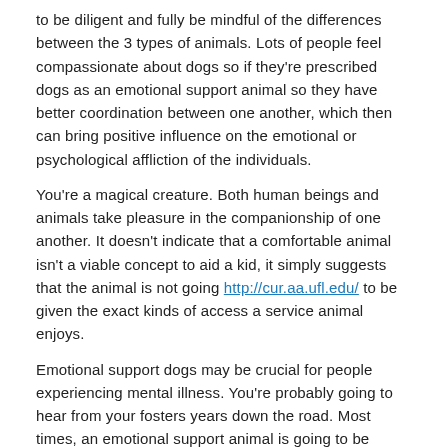to be diligent and fully be mindful of the differences between the 3 types of animals. Lots of people feel compassionate about dogs so if they're prescribed dogs as an emotional support animal so they have better coordination between one another, which then can bring positive influence on the emotional or psychological affliction of the individuals.
You're a magical creature. Both human beings and animals take pleasure in the companionship of one another. It doesn't indicate that a comfortable animal isn't a viable concept to aid a kid, it simply suggests that the animal is not going http://cur.aa.ufl.edu/ to be given the exact kinds of access a service animal enjoys.
Emotional support dogs may be crucial for people experiencing mental illness. You're probably going to hear from your fosters years down the road. Most times, an emotional support animal is going to be regarded as a sensible accommodation for an individual with this kind of a emotional support animal connecticut disability.